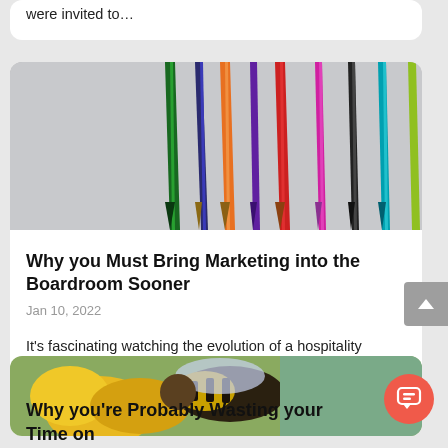were invited to…
[Figure (photo): Colorful pencils arranged diagonally on a light gray background, showing various colors including green, orange, red, magenta, black, teal, and others.]
Why you Must Bring Marketing into the Boardroom Sooner
Jan 10, 2022
It's fascinating watching the evolution of a hospitality business. Site one, two and three take off – it's time to get…
[Figure (photo): Close-up macro photograph of a bumblebee on yellow flowers against a green background.]
Why you're Probably Wasting your Time on